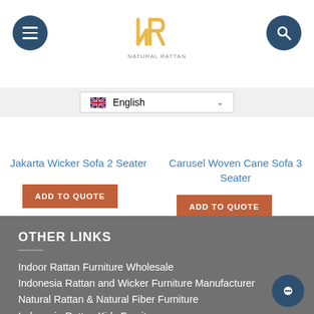[Figure (logo): NR Natural Rattan logo in gold/yellow lines, centered at the top]
English
Jakarta Wicker Sofa 2 Seater
ADD TO QUOTE
Carusel Woven Cane Sofa 3 Seater
ADD TO QUOTE
OTHER LINKS
Indoor Rattan Furniture Wholesale
Indonesia Rattan and Wicker Furniture Manufacturer
Natural Rattan & Natural Fiber Furniture
Indonesia Rattan Kids Furniture
Indonesia Reclaimed Teak Furniture
Outdoor Furniture Manufacture